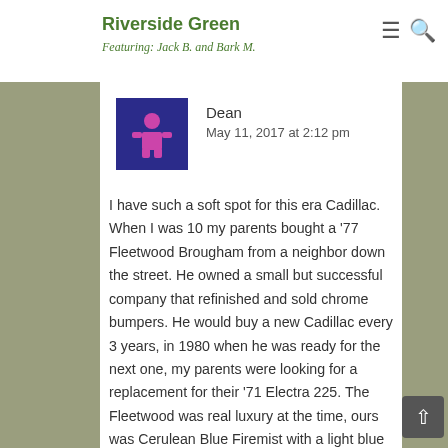Riverside Green — Featuring: Jack B. and Bark M.
Dean
May 11, 2017 at 2:12 pm
I have such a soft spot for this era Cadillac. When I was 10 my parents bought a '77 Fleetwood Brougham from a neighbor down the street. He owned a small but successful company that refinished and sold chrome bumpers. He would buy a new Cadillac every 3 years, in 1980 when he was ready for the next one, my parents were looking for a replacement for their '71 Electra 225. The Fleetwood was real luxury at the time, ours was Cerulean Blue Firemist with a light blue leather interior. A/C, automatic climate control and power seats were a big step up from the old Buick with its AM radio and vinyl. Ours still had the carburated 425, not much HP but torque all day. If I were to get one today I would probably go with a '77-78